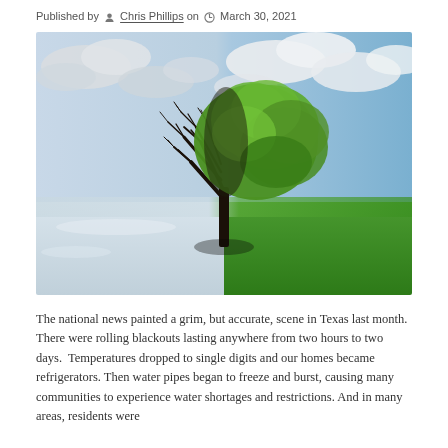Published by Chris Phillips on March 30, 2021
[Figure (photo): A tree split down the middle showing winter on the left side (bare dark branches, snowy ground) and summer on the right side (lush green leaves, green grass), against a blue sky with clouds.]
The national news painted a grim, but accurate, scene in Texas last month.  There were rolling blackouts lasting anywhere from two hours to two days.  Temperatures dropped to single digits and our homes became refrigerators. Then water pipes began to freeze and burst, causing many communities to experience water shortages and restrictions. And in many areas, residents were